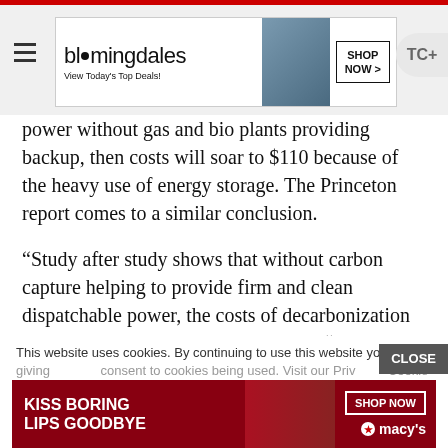[Figure (other): Bloomingdale's banner advertisement with model wearing hat. Text: bloomingdales, View Today's Top Deals!, SHOP NOW >]
power without gas and bio plants providing backup, then costs will soar to $110 because of the heavy use of energy storage. The Princeton report comes to a similar conclusion.
“Study after study shows that without carbon capture helping to provide firm and clean dispatchable power, the costs of decarbonization become exorbitant,” says Thompson. “It doesn’t mean that fossil fuels are good, but we have to use them to make this transition work.”
This website uses cookies. By continuing to use this website you are giving consent to cookies being used. Visit our Priv Cookie
[Figure (other): Macy's advertisement: KISS BORING LIPS GOODBYE, SHOP NOW, macy's logo with red star]